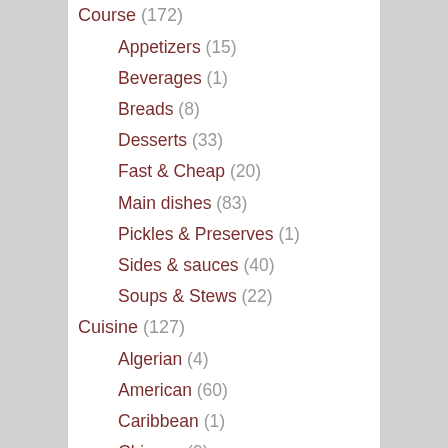Course (172)
Appetizers (15)
Beverages (1)
Breads (8)
Desserts (33)
Fast & Cheap (20)
Main dishes (83)
Pickles & Preserves (1)
Sides & sauces (40)
Soups & Stews (22)
Cuisine (127)
Algerian (4)
American (60)
Caribbean (1)
Chinese (9)
French (4)
Indian (10)
Italian (10)